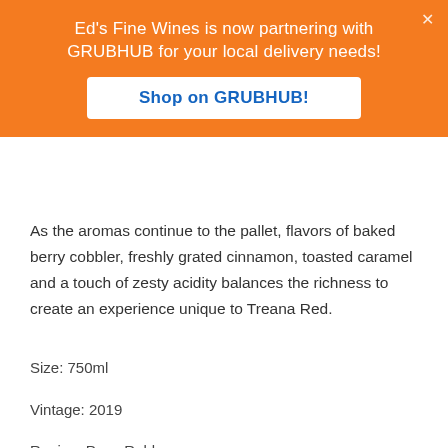Ed's Fine Wines is now partnering with GRUBHUB for your local delivery needs!
Shop on GRUBHUB!
As the aromas continue to the pallet, flavors of baked berry cobbler, freshly grated cinnamon, toasted caramel and a touch of zesty acidity balances the richness to create an experience unique to Treana Red.
Size: 750ml
Vintage: 2019
Region: Paso Robles
State: California
Country: United States